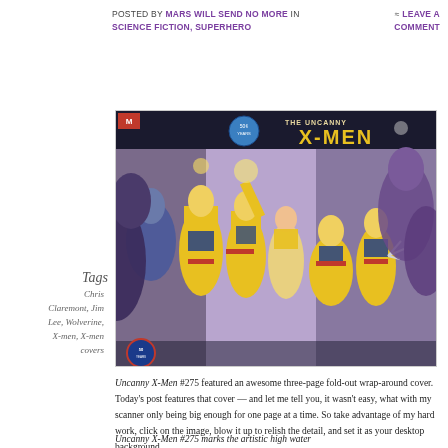Posted by Mars Will Send No More in science fiction, superhero ≈ Leave a comment
Tags
Chris Claremont, Jim Lee, Wolverine, X-men, X-men covers
[Figure (illustration): Uncanny X-Men #275 three-page fold-out wrap-around cover featuring X-Men characters in yellow and blue costumes against a purple/villain-filled background]
Uncanny X-Men #275 featured an awesome three-page fold-out wrap-around cover. Today's post features that cover — and let me tell you, it wasn't easy, what with my scanner only being big enough for one page at a time. So take advantage of my hard work, click on the image, blow it up to relish the detail, and set it as your desktop background.
Uncanny X-Men #275 marks the artistic high water